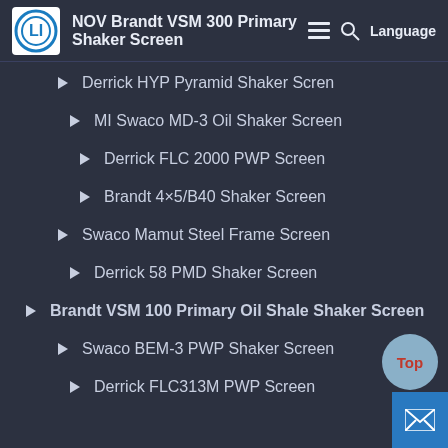NOV Brandt VSM 300 Primary Shaker Screen
Derrick HYP Pyramid Shaker Scren
MI Swaco MD-3 Oil Shaker Screen
Derrick FLC 2000 PWP Screen
Brandt 4×5/B40 Shaker Screen
Swaco Mamut Steel Frame Screen
Derrick 58 PMD Shaker Screen
Brandt VSM 100 Primary Oil Shale Shaker Screen
Swaco BEM-3 PWP Shaker Screen
Derrick FLC313M PWP Screen